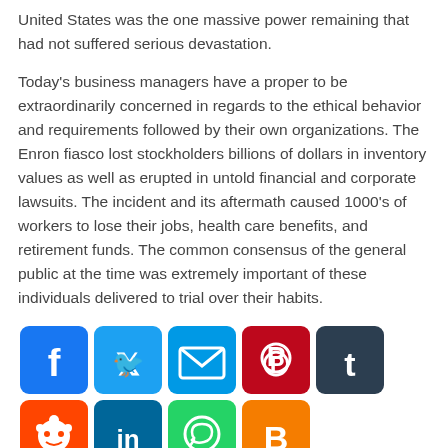United States was the one massive power remaining that had not suffered serious devastation.
Today's business managers have a proper to be extraordinarily concerned in regards to the ethical behavior and requirements followed by their own organizations. The Enron fiasco lost stockholders billions of dollars in inventory values as well as erupted in untold financial and corporate lawsuits. The incident and its aftermath caused 1000's of workers to lose their jobs, health care benefits, and retirement funds. The common consensus of the general public at the time was extremely important of these individuals delivered to trial over their habits.
[Figure (infographic): Social media share buttons: Facebook (blue), Twitter (blue), Email (blue), Pinterest (dark red), Tumblr (dark navy), Reddit (orange-red), LinkedIn (teal), WhatsApp (green), Blogger (orange), Gmail (red/white M), Telegram (blue arrow), AddToAny (blue plus)]
Tags: business